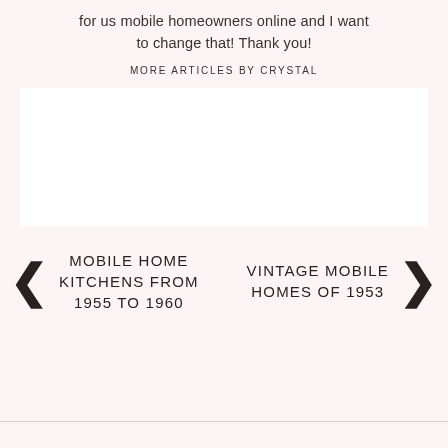for us mobile homeowners online and I want to change that! Thank you!
MORE ARTICLES BY CRYSTAL
[Figure (other): White rectangular box, likely an advertisement or image placeholder]
MOBILE HOME KITCHENS FROM 1955 TO 1960
VINTAGE MOBILE HOMES OF 1953